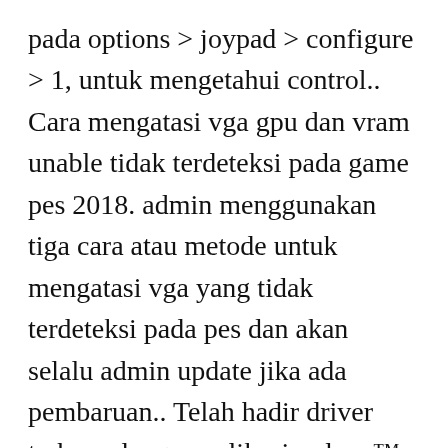pada options > joypad > configure > 1, untuk mengetahui control.. Cara mengatasi vga gpu dan vram unable tidak terdeteksi pada game pes 2018. admin menggunakan tiga cara atau metode untuk mengatasi vga yang tidak terdeteksi pada pes dan akan selalu admin update jika ada pembaruan.. Telah hadir driver terbaru dengan aplikasi radeon™ software crimson yang miliki performa 10x lebih cepat dibanding driver amd catalyst versi sebelumnya. Joue au Scrabble n'importe quand et n'importe où ! Download zuma revenge uptodown. During the game you need to destroy as many balls as possible, to collect the maximum of gold coins and various bonuses, and, of course, to prevent